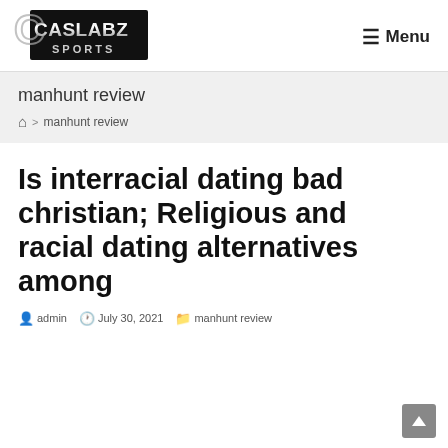[Figure (logo): Caslabz Sports logo — metallic silver letters on black background]
☰ Menu
manhunt review
🏠 > manhunt review
Is interracial dating bad christian; Religious and racial dating alternatives among
admin  July 30, 2021  manhunt review